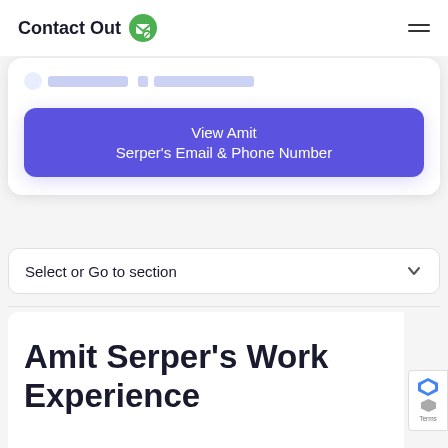Contact Out
[Figure (screenshot): Blurred/redacted phone number row showing partial contact information]
View Amit Serper's Email & Phone Number
Select or Go to section
Amit Serper's Work Experience